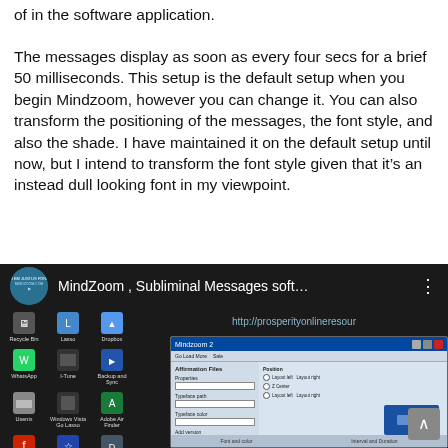of in the software application.
The messages display as soon as every four secs for a brief 50 milliseconds. This setup is the default setup when you begin Mindzoom, however you can change it. You can also transform the positioning of the messages, the font style, and also the shade. I have maintained it on the default setup until now, but I intend to transform the font style given that it’s an instead dull looking font in my viewpoint.
[Figure (screenshot): Screenshot of a YouTube video player showing MindZoom Subliminal Messages software, with a Windows desktop visible in the background and a software settings dialog window open. URL bar shows http://prosperityonlineresour]